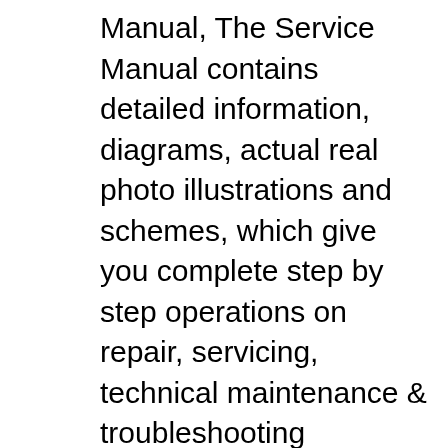Manual, The Service Manual contains detailed information, diagrams, actual real photo illustrations and schemes, which give you complete step by step operations on repair, servicing, technical maintenance & troubleshooting procedures for your machine.The information in this manual will enable you to find trouble and to understand how to repair and maintain Complete Service Repair Manual For Case 621D Wheel Loader. Include detailed step by step Instructions, diagrams, illustrations for disassembly and assembly. Make an easy any repair, overhaul, testing, adjustment, teardown, replacement and change, inspection. You're viewing: Case 621D